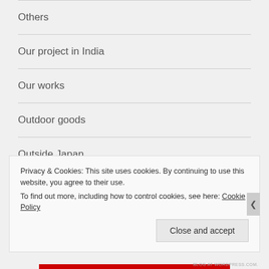Others
Our project in India
Our works
Outdoor goods
Outside Japan
Parasol
Padli...
Privacy & Cookies: This site uses cookies. By continuing to use this website, you agree to their use.
To find out more, including how to control cookies, see here: Cookie Policy